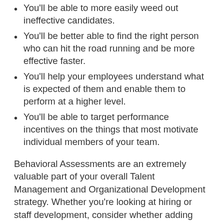You'll be able to more easily weed out ineffective candidates.
You'll be better able to find the right person who can hit the road running and be more effective faster.
You'll help your employees understand what is expected of them and enable them to perform at a higher level.
You'll be able to target performance incentives on the things that most motivate individual members of your team.
Behavioral Assessments are an extremely valuable part of your overall Talent Management and Organizational Development strategy. Whether you're looking at hiring or staff development, consider whether adding Behavioral Assessments might be a Breakaway Move that makes your staff happier, more effective and more valuable to your business.